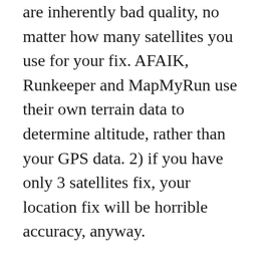are inherently bad quality, no matter how many satellites you use for your fix. AFAIK, Runkeeper and MapMyRun use their own terrain data to determine altitude, rather than your GPS data. 2) if you have only 3 satellites fix, your location fix will be horrible accuracy, anyway.
The reason that the tracks are so poor in canyons is not due to lack of WiFi signal.. GPS signals are hard to receive when inside canyons. I suspect that the Garmin GPS watch has a much bigger antenna, and it also benefits from not having the extra interference of the phone's radio. Even so, as a software developer who implemented